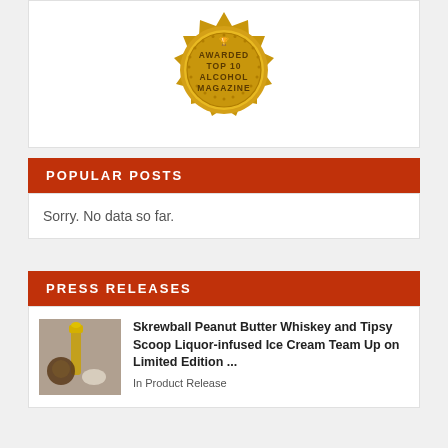[Figure (logo): Gold seal/badge reading AWARDED TOP 10 ALCOHOL MAGAZINE]
POPULAR POSTS
Sorry. No data so far.
PRESS RELEASES
[Figure (photo): Photo of Skrewball Peanut Butter Whiskey bottle with ice cream]
Skrewball Peanut Butter Whiskey and Tipsy Scoop Liquor-infused Ice Cream Team Up on Limited Edition ...
In Product Release